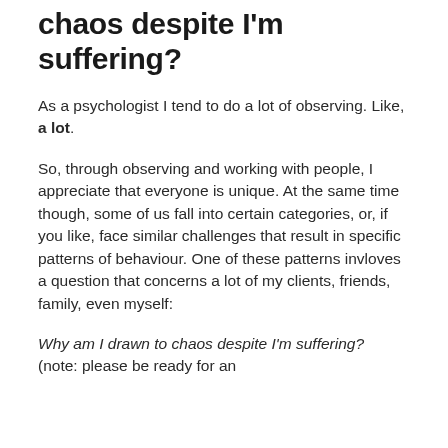chaos despite I'm suffering?
As a psychologist I tend to do a lot of observing. Like, a lot.
So, through observing and working with people, I appreciate that everyone is unique. At the same time though, some of us fall into certain categories, or, if you like, face similar challenges that result in specific patterns of behaviour. One of these patterns invloves a question that concerns a lot of my clients, friends, family, even myself:
Why am I drawn to chaos despite I'm suffering?
(note: please be ready for an